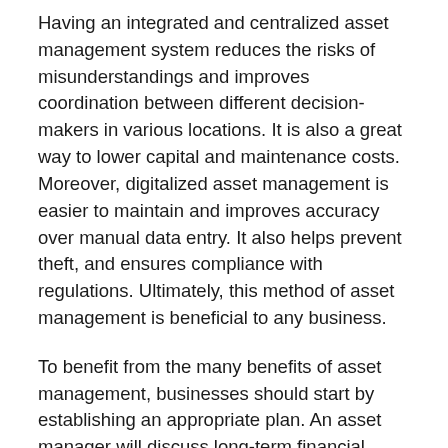Having an integrated and centralized asset management system reduces the risks of misunderstandings and improves coordination between different decision-makers in various locations. It is also a great way to lower capital and maintenance costs. Moreover, digitalized asset management is easier to maintain and improves accuracy over manual data entry. It also helps prevent theft, and ensures compliance with regulations. Ultimately, this method of asset management is beneficial to any business.
To benefit from the many benefits of asset management, businesses should start by establishing an appropriate plan. An asset manager will discuss long-term financial goals and risk tolerance with their clients. They will then propose an appropriate mix of investments and monitor them for the client's benefit. The asset manager will keep them updated on changes in the portfolio and